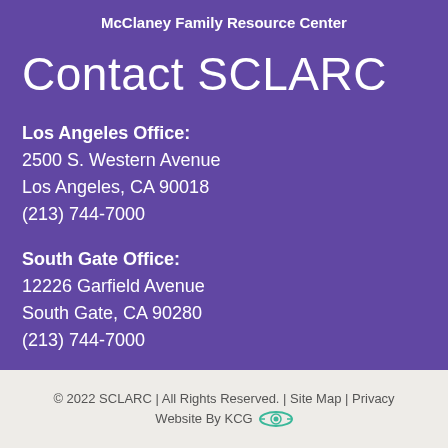McClaney Family Resource Center
Contact SCLARC
Los Angeles Office:
2500 S. Western Avenue
Los Angeles, CA 90018
(213) 744-7000
South Gate Office:
12226 Garfield Avenue
South Gate, CA 90280
(213) 744-7000
© 2022 SCLARC | All Rights Reserved. | Site Map | Privacy
Website By KCG